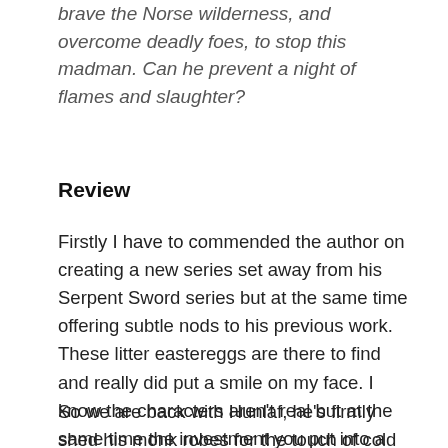brave the Norse wilderness, and overcome deadly foes, to stop this madman. Can he prevent a night of flames and slaughter?
Review
Firstly I have to commended the author on creating a new series set away from his Serpent Sword series but at the same time offering subtle nods to his previous work. These litter eastereggs are there to find and really did put a smile on my face. I know the characters aren’t real but at the same time the investment you put into a story as the reader makes them real, so adding in these little extras triggers the memories and it’s great to see those adventures are still locked in my head 😊.
So we are back with Hunlaf, he’s firmly shed his monk robes for the touch of cold hard steel but that doesn’t mean he’s